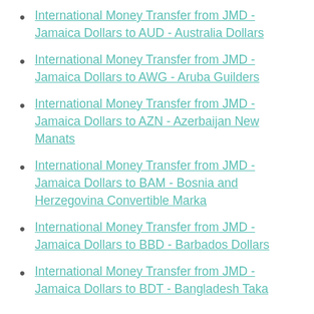International Money Transfer from JMD - Jamaica Dollars to AUD - Australia Dollars
International Money Transfer from JMD - Jamaica Dollars to AWG - Aruba Guilders
International Money Transfer from JMD - Jamaica Dollars to AZN - Azerbaijan New Manats
International Money Transfer from JMD - Jamaica Dollars to BAM - Bosnia and Herzegovina Convertible Marka
International Money Transfer from JMD - Jamaica Dollars to BBD - Barbados Dollars
International Money Transfer from JMD - Jamaica Dollars to BDT - Bangladesh Taka